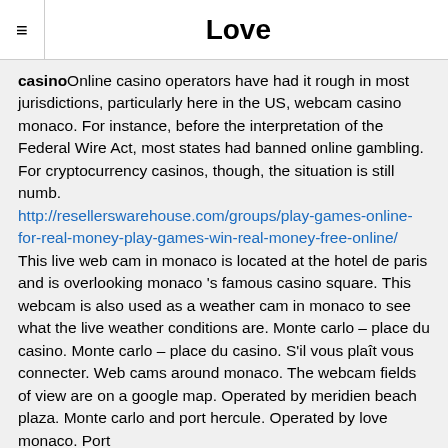Love
casinoOnline casino operators have had it rough in most jurisdictions, particularly here in the US, webcam casino monaco. For instance, before the interpretation of the Federal Wire Act, most states had banned online gambling. For cryptocurrency casinos, though, the situation is still numb. http://resellerswarehouse.com/groups/play-games-online-for-real-money-play-games-win-real-money-free-online/ This live web cam in monaco is located at the hotel de paris and is overlooking monaco 's famous casino square. This webcam is also used as a weather cam in monaco to see what the live weather conditions are. Monte carlo – place du casino. Monte carlo – place du casino. S'il vous plaît vous connecter. Web cams around monaco. The webcam fields of view are on a google map. Operated by meridien beach plaza. Monte carlo and port hercule. Operated by love monaco. Port